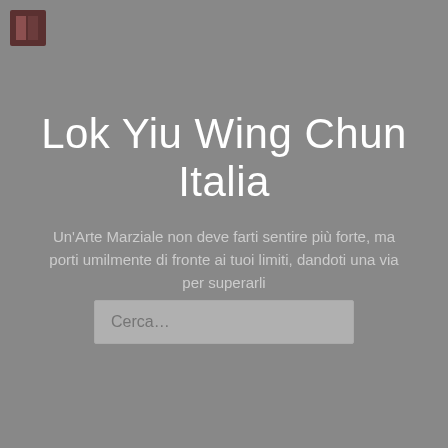[Figure (logo): Small square logo with dark red/brown color in top-left corner]
Lok Yiu Wing Chun Italia
Un'Arte Marziale non deve farti sentire più forte, ma porti umilmente di fronte ai tuoi limiti, dandoti una via per superarli
Cerca…